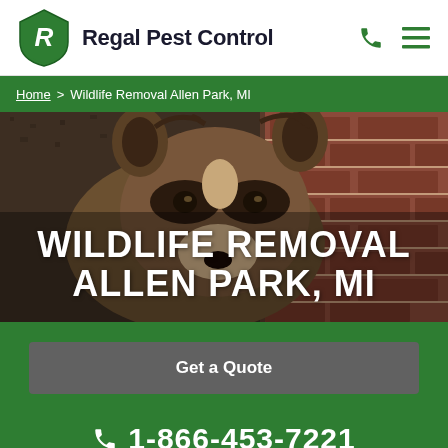Regal Pest Control
Home > Wildlife Removal Allen Park, MI
WILDLIFE REMOVAL ALLEN PARK, MI
[Figure (photo): Close-up photo of a raccoon against a brick wall background]
Get a Quote
1-866-453-7221